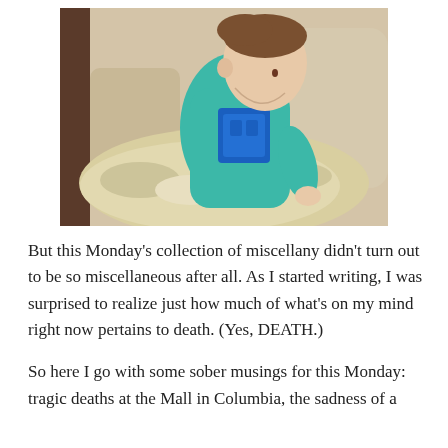[Figure (photo): A young child wearing a teal/turquoise long-sleeve shirt with a blue graphic, sitting on a beige couch and leaning forward, covered partially by a textured knit blanket in white and gold tones.]
But this Monday's collection of miscellany didn't turn out to be so miscellaneous after all. As I started writing, I was surprised to realize just how much of what's on my mind right now pertains to death. (Yes, DEATH.)
So here I go with some sober musings for this Monday: tragic deaths at the Mall in Columbia, the sadness of a